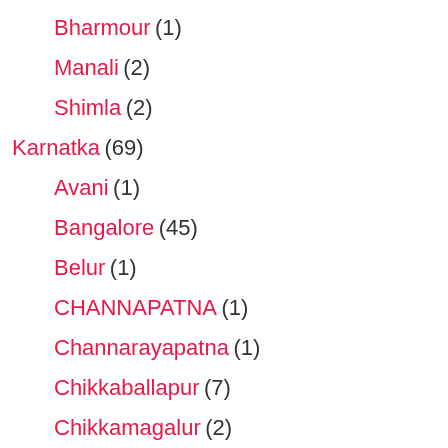Bharmour (1)
Manali (2)
Shimla (2)
Karnatka (69)
Avani (1)
Bangalore (45)
Belur (1)
CHANNAPATNA (1)
Channarayapatna (1)
Chikkaballapur (7)
Chikkamagalur (2)
Coorg (2)
Devanhalli (2)
Doddabalapur (2)